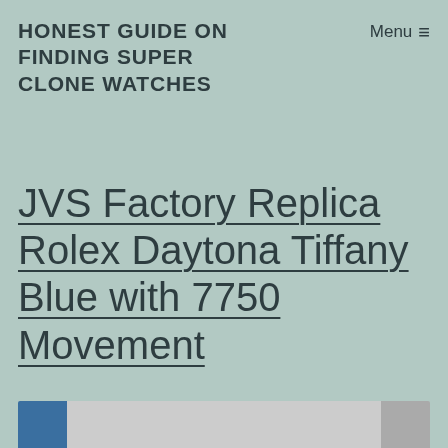HONEST GUIDE ON FINDING SUPER CLONE WATCHES
Menu ☰
JVS Factory Replica Rolex Daytona Tiffany Blue with 7750 Movement
[Figure (photo): Partial view of a watch with Tiffany blue dial, partially obscured by a card or document]